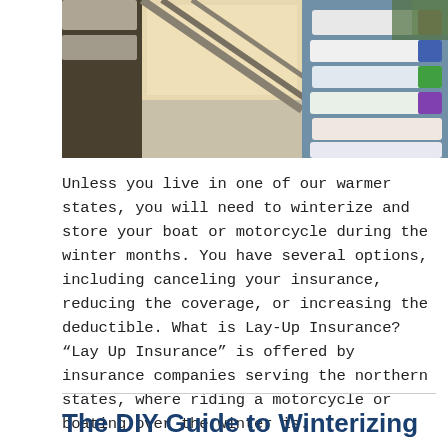[Figure (photo): Photo of boats stored indoors in a marina storage facility, viewed from below showing boat hulls lined up on racks with structural beams visible]
Unless you live in one of our warmer states, you will need to winterize and store your boat or motorcycle during the winter months. You have several options, including canceling your insurance, reducing the coverage, or increasing the deductible. What is Lay-Up Insurance? “Lay Up Insurance” is offered by insurance companies serving the northern states, where riding a motorcycle or boating over the winter is...
The DIY Guide to Winterizing